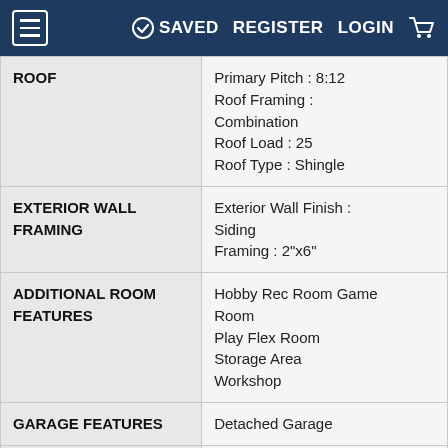≡  ✓ SAVED  REGISTER  LOGIN  🛒
| Feature | Details |
| --- | --- |
| ROOF | Primary Pitch : 8:12
Roof Framing : Combination
Roof Load : 25
Roof Type : Shingle |
| EXTERIOR WALL FRAMING | Exterior Wall Finish : Siding
Framing : 2"x6" |
| ADDITIONAL ROOM FEATURES | Hobby Rec Room Game Room
Play Flex Room
Storage Area
Workshop |
| GARAGE FEATURES | Detached Garage |
| LOT CHARACTERISTICS | Suited For Corner Lot
Suited For Narrow Lot |